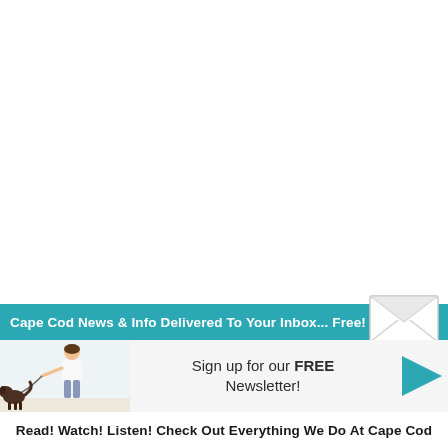[Figure (infographic): Newsletter signup banner with teal header bar reading 'Cape Cod News & Info Delivered To Your Inbox... Free!', envelope icon, illustration of woman walking dog on beach, 'Sign up for our FREE Newsletter!' text, and teal arrow button.]
Read! Watch! Listen! Check Out Everything We Do At Cape Cod